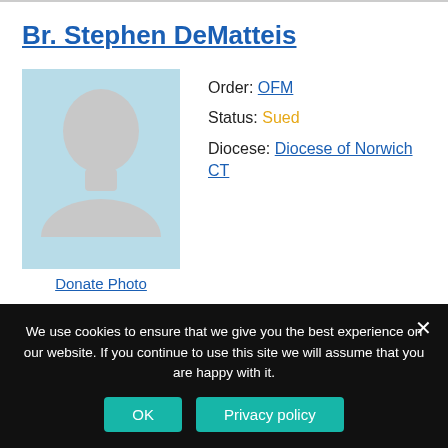Br. Stephen DeMatteis
[Figure (photo): Silhouette placeholder photo of a person on a light blue background]
Donate Photo
Order: OFM
Status: Sued
Diocese: Diocese of Norwich CT
Accused of "making a sexual advance" toward a boy who sought counseling from him after being abused for
We use cookies to ensure that we give you the best experience on our website. If you continue to use this site we will assume that you are happy with it.